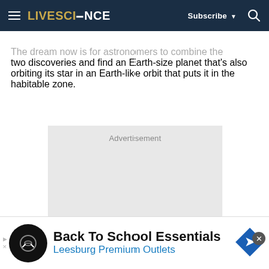LIVESCIENCE | Subscribe | Search
The dream now is for astronomers to combine the two discoveries and find an Earth-size planet that's also orbiting its star in an Earth-like orbit that puts it in the habitable zone.
[Figure (other): Advertisement placeholder box with grey background]
Back To School Essentials Leesburg Premium Outlets